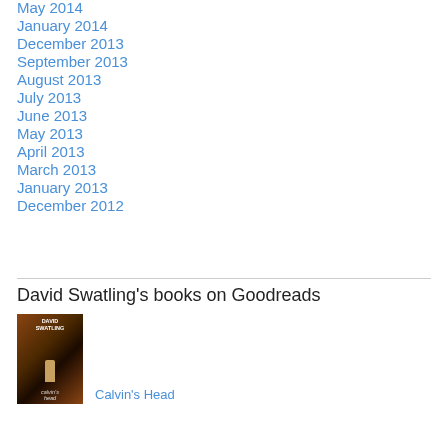May 2014
January 2014
December 2013
September 2013
August 2013
July 2013
June 2013
May 2013
April 2013
March 2013
January 2013
December 2012
David Swatling's books on Goodreads
[Figure (photo): Book cover for Calvin's Head by David Swatling]
Calvin's Head